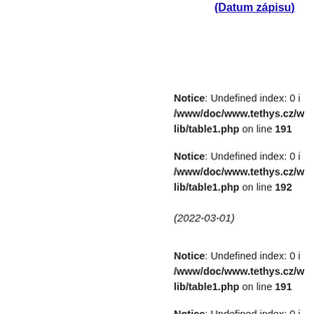(Datum zápisu)
Notice: Undefined index: 0 in /www/doc/www.tethys.cz/w/lib/table1.php on line 191
Notice: Undefined index: 0 in /www/doc/www.tethys.cz/w/lib/table1.php on line 192
(2022-03-01)
Notice: Undefined index: 0 in /www/doc/www.tethys.cz/w/lib/table1.php on line 191
Notice: Undefined index: 0 in /www/doc/www.tethys.cz/w/lib/table1.php on line 192
(2022-02-28)